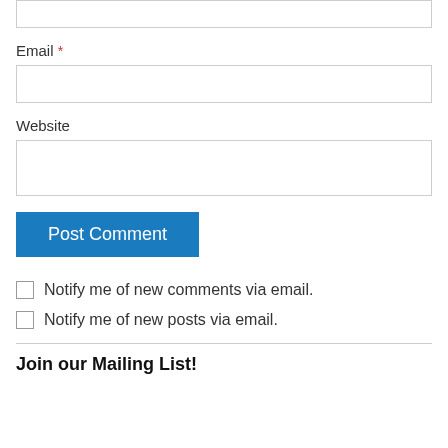Email *
[Figure (other): Empty text input field for Email]
Website
[Figure (other): Empty text input field for Website]
Post Comment (button)
Notify me of new comments via email.
Notify me of new posts via email.
Join our Mailing List!